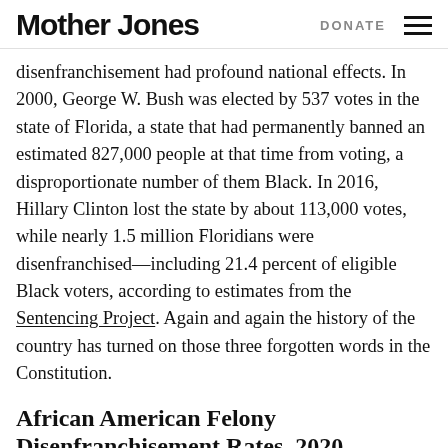Mother Jones | DONATE
disenfranchisement had profound national effects. In 2000, George W. Bush was elected by 537 votes in the state of Florida, a state that had permanently banned an estimated 827,000 people at that time from voting, a disproportionate number of them Black. In 2016, Hillary Clinton lost the state by about 113,000 votes, while nearly 1.5 million Floridians were disenfranchised—including 21.4 percent of eligible Black voters, according to estimates from the Sentencing Project. Again and again the history of the country has turned on those three forgotten words in the Constitution.
African American Felony Disenfranchisement Rates, 2020